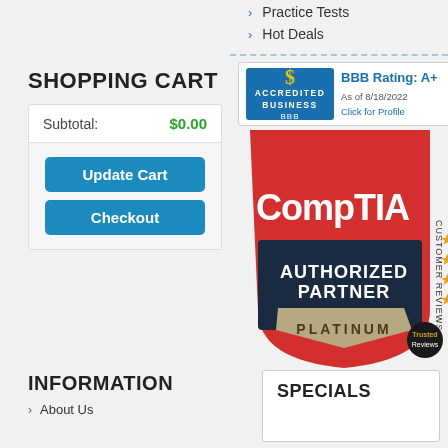Practice Tests
Hot Deals
SHOPPING CART
| Subtotal: | $0.00 |
| --- | --- |
[Figure (logo): BBB Accredited Business badge — BBB Rating: A+, As of 8/18/2022, Click for Profile]
[Figure (logo): CompTIA Authorized Partner Platinum badge with Customer Reviews stars]
INFORMATION
About Us
SPECIALS